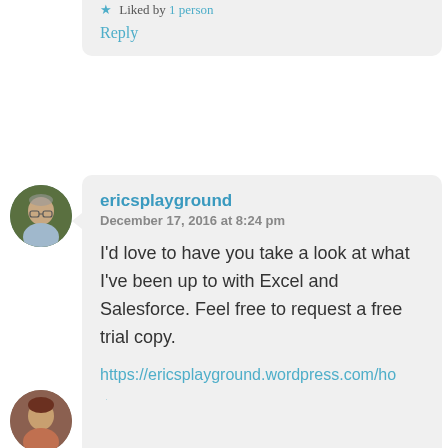Liked by 1 person
Reply
[Figure (photo): Circular avatar photo of an older man wearing glasses, in front of green foliage]
ericsplayground
December 17, 2016 at 8:24 pm
I'd love to have you take a look at what I've been up to with Excel and Salesforce. Feel free to request a free trial copy.
https://ericsplayground.wordpress.com/h...
Liked by 1 person
Reply
[Figure (photo): Circular avatar photo of a person, partially visible at bottom of page]